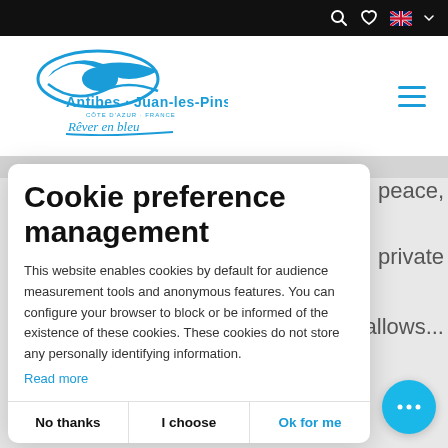Top navigation bar with search, wishlist, language (UK flag) icons
[Figure (logo): Antibes Juan-les-Pins, Côte d'Azur France, Rêver en bleu logo in blue]
peace,
private
allows...
Cookie preference management
This website enables cookies by default for audience measurement tools and anonymous features. You can configure your browser to block or be informed of the existence of these cookies. These cookies do not store any personally identifying information.
Read more
No thanks
I choose
Ok for me